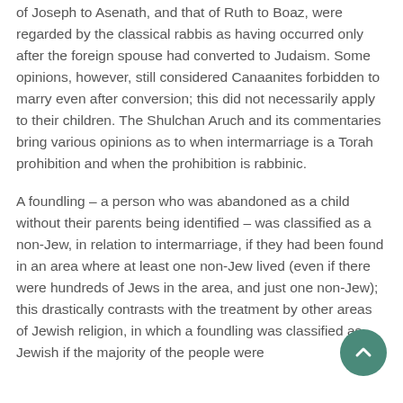of Joseph to Asenath, and that of Ruth to Boaz, were regarded by the classical rabbis as having occurred only after the foreign spouse had converted to Judaism. Some opinions, however, still considered Canaanites forbidden to marry even after conversion; this did not necessarily apply to their children. The Shulchan Aruch and its commentaries bring various opinions as to when intermarriage is a Torah prohibition and when the prohibition is rabbinic.
A foundling – a person who was abandoned as a child without their parents being identified – was classified as a non-Jew, in relation to intermarriage, if they had been found in an area where at least one non-Jew lived (even if there were hundreds of Jews in the area, and just one non-Jew); this drastically contrasts with the treatment by other areas of Jewish religion, in which a foundling was classified as Jewish if the majority of the people were